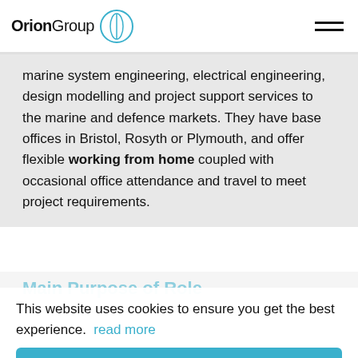Orion Group
marine system engineering, electrical engineering, design modelling and project support services to the marine and defence markets. They have base offices in Bristol, Rosyth or Plymouth, and offer flexible working from home coupled with occasional office attendance and travel to meet project requirements.
Main Purpose of Role
This website uses cookies to ensure you get the best experience. read more
GOT IT!